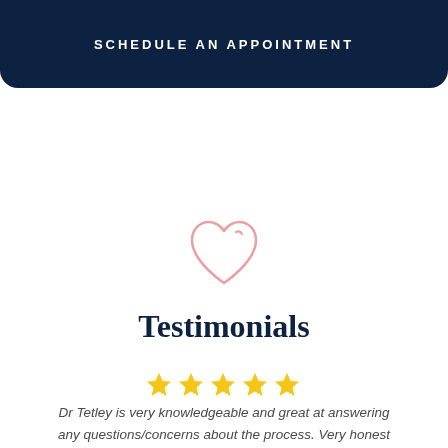SCHEDULE AN APPOINTMENT
[Figure (illustration): Heart icon outline in rose/pink color, centered on page]
Testimonials
[Figure (infographic): Five gold star rating icons]
Dr Tetley is very knowledgeable and great at answering any questions/concerns about the process. Very honest and experienced at what he does! If you're